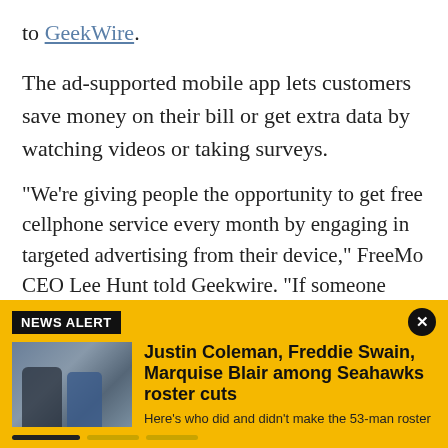to GeekWire.
The ad-supported mobile app lets customers save money on their bill or get extra data by watching videos or taking surveys.
“We’re giving people the opportunity to get free cellphone service every month by engaging in targeted advertising from their device,” FreeMo CEO Lee Hunt told Geekwire. “If someone doesn’t care to engage in advertising that month, they can pay $24 — which still undercuts most pre-paid plans and is significantly
[Figure (screenshot): News alert overlay banner with yellow background showing headline: Justin Coleman, Freddie Swain, Marquise Blair among Seahawks roster cuts. Subheadline: Here's who did and didn't make the 53-man roster. Contains a football game photo on the left and a close button (X) in the top right corner.]